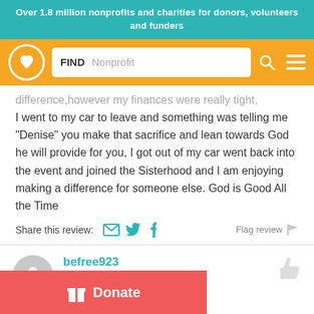Over 1.8 million nonprofits and charities for donors, volunteers and funders
[Figure (screenshot): Orange navigation bar with Charity Navigator logo (circle with heart), a search box labeled FIND Nonprofit, a search icon, and a hamburger menu icon]
difference,however my finances were really tight, I went to my car to leave and something was telling me "Denise" you make that sacrifice and lean towards God he will provide for you, I got out of my car went back into the event and joined the Sisterhood and I am enjoying making a difference for someone else. God is Good All the Time
Share this review:
Flag review
befree923
Volunteer
Donate